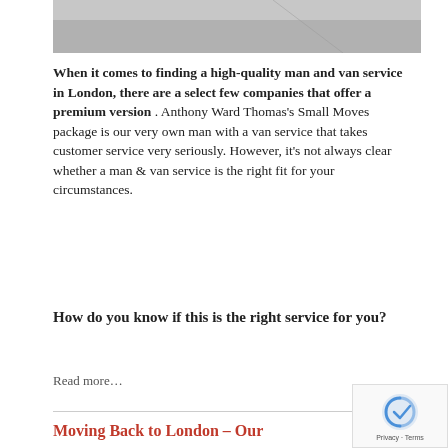[Figure (photo): Photograph of a grey surface or road, cropped at the bottom of the image strip]
When it comes to finding a high-quality man and van service in London, there are a select few companies that offer a premium version . Anthony Ward Thomas's Small Moves package is our very own man with a van service that takes customer service very seriously. However, it's not always clear whether a man & van service is the right fit for your circumstances.
How do you know if this is the right service for you?
Read more…
Moving Back to London – Our